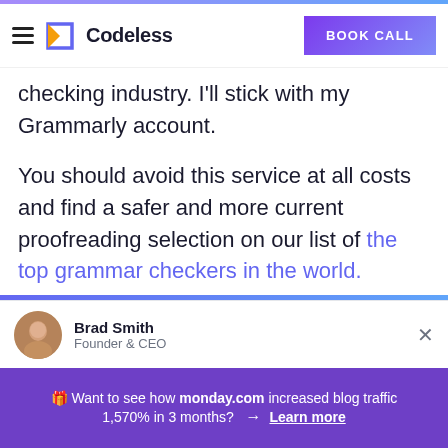Codeless — BOOK CALL
checking industry. I'll stick with my Grammarly account.
You should avoid this service at all costs and find a safer and more current proofreading selection on our list of the top grammar checkers in the world.
[Figure (other): Author avatar photo of Brad Smith]
Brad Smith
Founder & CEO
🎁 Want to see how monday.com increased blog traffic 1,570% in 3 months? → Learn more